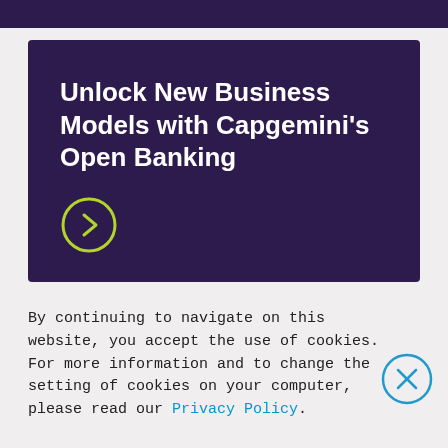[Figure (illustration): Dark purple top navigation bar strip]
Unlock New Business Models with Capgemini's Open Banking
[Figure (illustration): Yellow-green circle with right arrow chevron button on dark purple background hero card]
By continuing to navigate on this website, you accept the use of cookies.
For more information and to change the setting of cookies on your computer, please read our Privacy Policy.
[Figure (illustration): Teal outlined circle with X close button for cookie banner]